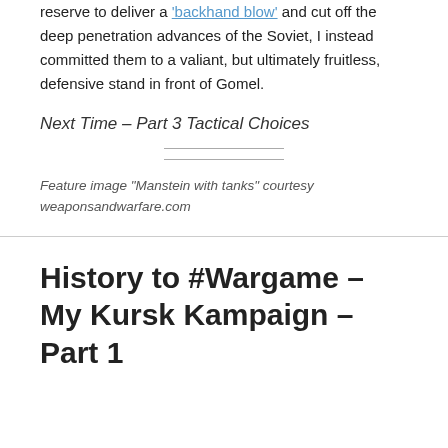reserve to deliver a 'backhand blow' and cut off the deep penetration advances of the Soviet, I instead committed them to a valiant, but ultimately fruitless, defensive stand in front of Gomel.
Next Time – Part 3 Tactical Choices
Feature image “Manstein with tanks” courtesy weaponsandwarfare.com
History to #Wargame – My Kursk Kampaign – Part 1